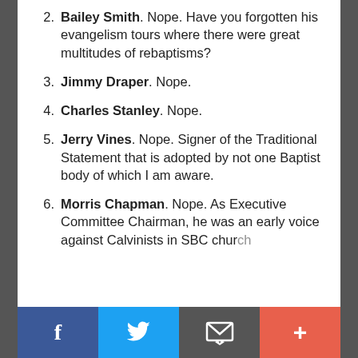2. Bailey Smith. Nope. Have you forgotten his evangelism tours where there were great multitudes of rebaptisms?
3. Jimmy Draper. Nope.
4. Charles Stanley. Nope.
5. Jerry Vines. Nope. Signer of the Traditional Statement that is adopted by not one Baptist body of which I am aware.
6. Morris Chapman. Nope. As Executive Committee Chairman, he was an early voice against Calvinists in SBC churches.
f  [Twitter bird]  [envelope icon]  +